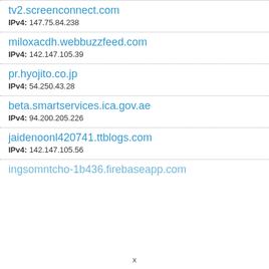tv2.screenconnect.com
IPv4: 147.75.84.238
miloxacdh.webbuzzfeed.com
IPv4: 142.147.105.39
pr.hyojito.co.jp
IPv4: 54.250.43.28
beta.smartservices.ica.gov.ae
IPv4: 94.200.205.226
jaidenoonl420741.ttblogs.com
IPv4: 142.147.105.56
ingsomntcho-1b436.firebaseapp.com
x